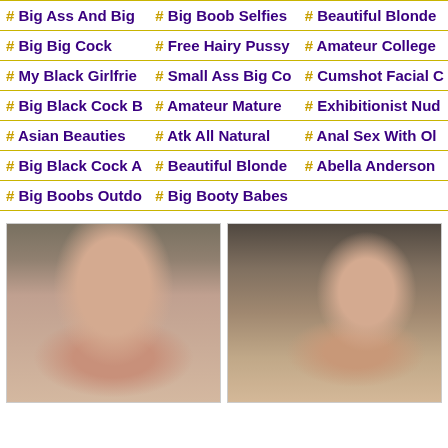# Big Ass And Big
# Big Boob Selfies
# Beautiful Blonde
# Big Big Cock
# Free Hairy Pussy
# Amateur College
# My Black Girlfrie
# Small Ass Big Co
# Cumshot Facial
# Big Black Cock
# Amateur Mature
# Exhibitionist Nud
# Asian Beauties
# Atk All Natural
# Anal Sex With Ol
# Big Black Cock A
# Beautiful Blonde
# Abella Anderson
# Big Boobs Outdo
# Big Booty Babes
[Figure (photo): Selfie photo of young woman with dark hair]
[Figure (photo): Photo of woman with reddish hair in indoor setting]